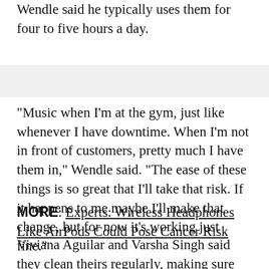Wendle said he typically uses them for four to five hours a day.
"Music when I'm at the gym, just like whenever I have downtime. When I'm not in front of customers, pretty much I have them in," Wendle said. "The ease of these things is so great that I'll take that risk. If it happens to me maybe I'll make that change, but for now it's working just fine."
MORE: Experts: Wireless Headphones Like AirPods Could Pose Cancer Risk
Viviana Aguilar and Varsha Singh said they clean theirs regularly, making sure not to put them down on hard surfaces where they can collect bacteria